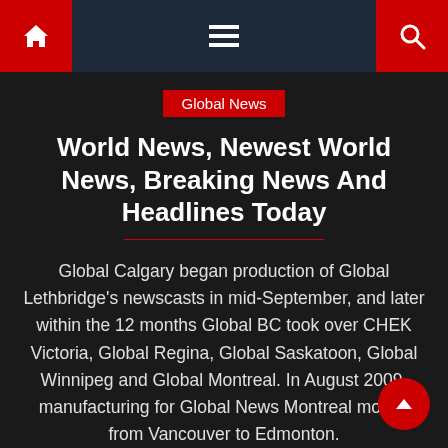Global News [navigation bar with home, menu, search icons]
Global News
World News, Newest World News, Breaking News And Headlines Today
Global Calgary began production of Global Lethbridge's newscasts in mid-September, and later within the 12 months Global BC took over CHEK Victoria, Global Regina, Global Saskatoon, Global Winnipeg and Global Montreal. In August 2009, manufacturing for Global News Montreal moved from Vancouver to Edmonton.